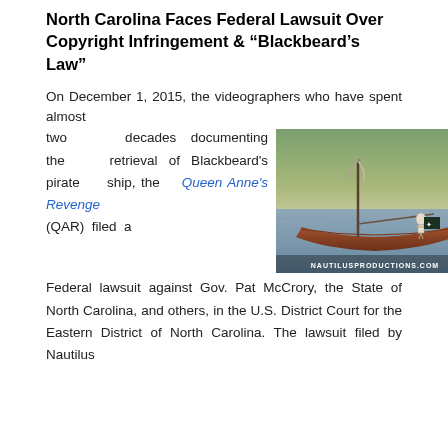North Carolina Faces Federal Lawsuit Over Copyright Infringement & “Blackbeard’s Law”
On December 1, 2015, the videographers who have spent almost two decades documenting the retrieval of Blackbeard’s pirate ship, the Queen Anne’s Revenge (QAR) filed a Federal lawsuit against Gov. Pat McCrory, the State of North Carolina, and others, in the U.S. District Court for the Eastern District of North Carolina. The lawsuit filed by Nautilus
[Figure (photo): A wooden boat on water with a mast and pirate flag, with a skeleton figure aboard. Watermark reads NAUTILUSPRODUCTIONS.COM]